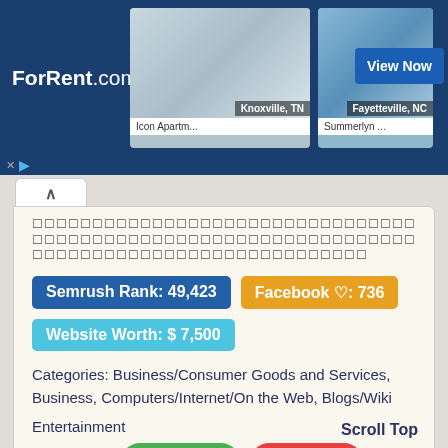[Figure (screenshot): ForRent.com advertisement banner showing two apartment listings: Icon Apartments in Knoxville, TN and Summerlyn in Fayetteville, NC, with a 'View Now' button]
□□□□□□□□□□□□□□□□□□□□□□□□□□□□□□□□□□□□□□□□□□□□□□□□□□□□□□□□□□□□□□□□□□□□□□□□□□□□□□□□□□□□□□□□□□□□
Semrush Rank: 49,423
Facebook ♡: 736
Website Worth: $ 7,500
Categories: Business/Consumer Goods and Services, Business, Computers/Internet/On the Web, Blogs/Wiki, Entertainment
Scroll Top
Is it similar?
Yes 0
No 0